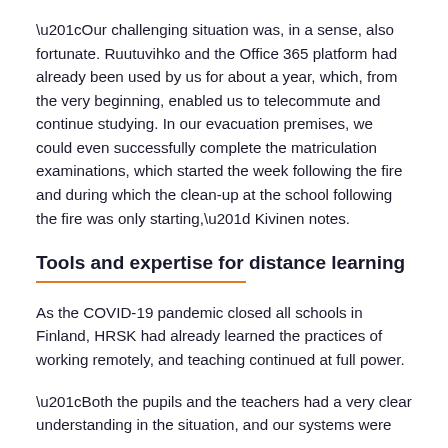“Our challenging situation was, in a sense, also fortunate. Ruutuvihko and the Office 365 platform had already been used by us for about a year, which, from the very beginning, enabled us to telecommute and continue studying. In our evacuation premises, we could even successfully complete the matriculation examinations, which started the week following the fire and during which the clean-up at the school following the fire was only starting,” Kivinen notes.
Tools and expertise for distance learning
As the COVID-19 pandemic closed all schools in Finland, HRSK had already learned the practices of working remotely, and teaching continued at full power.
“Both the pupils and the teachers had a very clear understanding in the situation, and our systems were